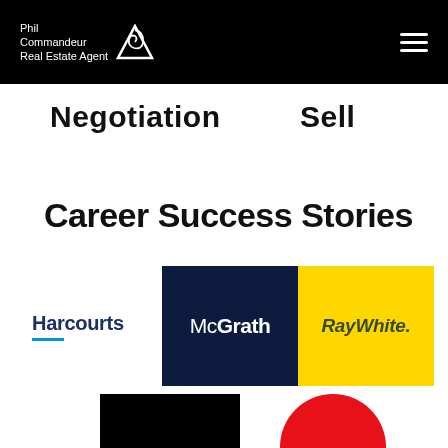Phil Commandeur Real Estate Agent
Negotiation
Sell
Career Success Stories
[Figure (logo): Harcourts real estate logo with blue text and cyan underline]
[Figure (logo): McGrath real estate logo with white text on dark navy background]
[Figure (logo): Ray White real estate logo with dark olive italic text on yellow background]
[Figure (logo): Partially visible black rectangle logo at bottom]
[Figure (logo): Partially visible red circle logo at bottom]